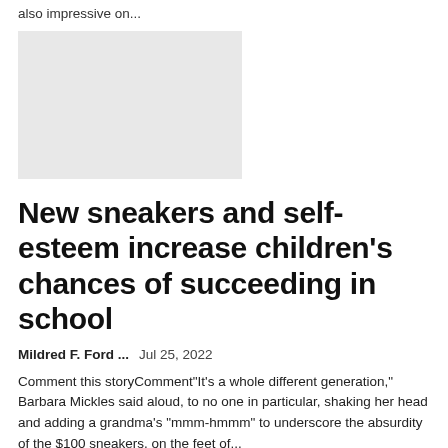also impressive on...
[Figure (photo): Placeholder image, light gray rectangle]
New sneakers and self-esteem increase children's chances of succeeding in school
Mildred F. Ford ...    Jul 25, 2022
Comment this storyComment"It's a whole different generation," Barbara Mickles said aloud, to no one in particular, shaking her head and adding a grandma's "mmm-hmmm" to underscore the absurdity of the $100 sneakers. on the feet of...